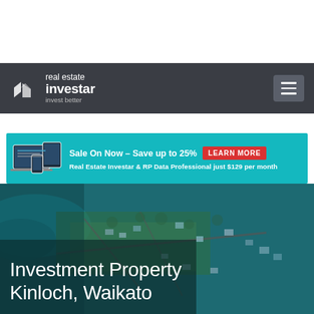[Figure (logo): Real Estate Investar logo with white icon and text on dark background, hamburger menu on right]
[Figure (infographic): Advertisement banner: teal background with device images, 'Sale On Now – Save up to 25%' with red LEARN MORE button, subtitle 'Real Estate Investar & RP Data Professional just $129 per month']
[Figure (photo): Aerial view of Kinloch, Waikato showing coastal suburb with roads and housing]
Investment Property Kinloch, Waikato